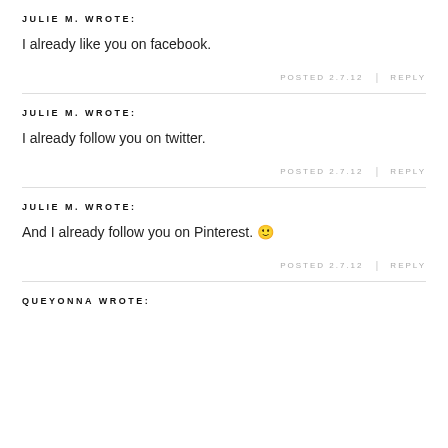JULIE M. WROTE:
I already like you on facebook.
POSTED 2.7.12  |  REPLY
JULIE M. WROTE:
I already follow you on twitter.
POSTED 2.7.12  |  REPLY
JULIE M. WROTE:
And I already follow you on Pinterest. 🙂
POSTED 2.7.12  |  REPLY
QUEYONNA WROTE: